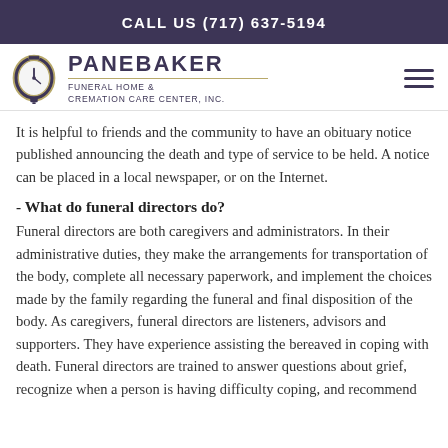CALL US (717) 637-5194
[Figure (logo): Panebaker Funeral Home & Cremation Care Center, Inc. logo with clock icon]
It is helpful to friends and the community to have an obituary notice published announcing the death and type of service to be held. A notice can be placed in a local newspaper, or on the Internet.
- What do funeral directors do?
Funeral directors are both caregivers and administrators. In their administrative duties, they make the arrangements for transportation of the body, complete all necessary paperwork, and implement the choices made by the family regarding the funeral and final disposition of the body. As caregivers, funeral directors are listeners, advisors and supporters. They have experience assisting the bereaved in coping with death. Funeral directors are trained to answer questions about grief, recognize when a person is having difficulty coping, and recommend